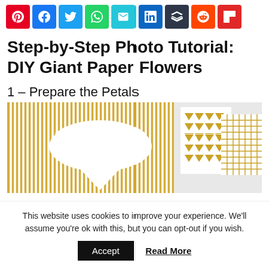[Figure (infographic): Social media share buttons bar: Pinterest (red), Facebook (blue), Twitter (light blue), WhatsApp (green), Email (teal), LinkedIn (dark blue), Buffer (dark gray), Reddit (orange-red), Flipboard (red)]
Step-by-Step Photo Tutorial: DIY Giant Paper Flowers
1 – Prepare the Petals
[Figure (photo): Photo of gold and white striped scrapbook paper with a white petal-shaped template cut out, and additional patterned paper pieces (triangle and grid patterns in gold and white) to the right.]
This website uses cookies to improve your experience. We'll assume you're ok with this, but you can opt-out if you wish.